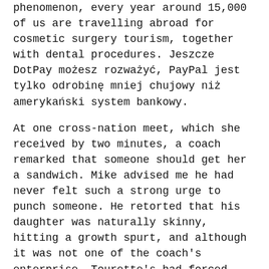phenomenon, every year around 15,000 of us are travelling abroad for cosmetic surgery tourism, together with dental procedures. Jeszcze DotPay możesz rozważyć, PayPal jest tylko odrobinę mniej chujowy niż amerykański system bankowy.
At one cross-nation meet, which she received by two minutes, a coach remarked that someone should get her a sandwich. Mike advised me he had never felt such a strong urge to punch someone. He retorted that his daughter was naturally skinny, hitting a growth spurt, and although it was not one of the coach's enterprise, Tourette's had forced Amaris to make use of up all types of extra calories.
There isn't any single rationalization for why habit treatment is mired in a type of scientific dark age, why addicts are denied the help that trendy drugs can offer. Household doctors are likely to see addicts as a nuisance or a legal responsibility and don't want them crowding their ready rooms. In American tradition, self-help runs deep. Heroin dependancy isn't only a disease, it is a serious Addicts …